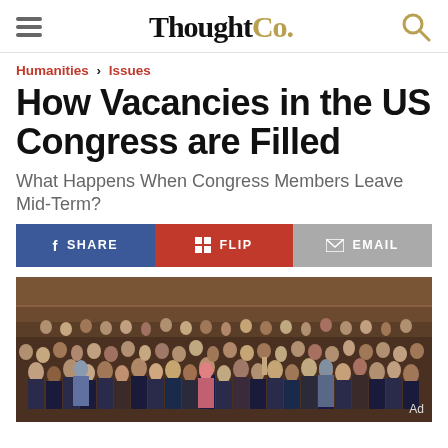ThoughtCo.
Humanities › Issues
How Vacancies in the US Congress are Filled
What Happens When Congress Members Leave Mid-Term?
[Figure (infographic): Social share bar with SHARE (Facebook, blue), FLIP (Flipboard, red), and EMAIL (grey) buttons]
[Figure (photo): Large group photo of US Congress members assembled in a chamber hall, crowd of legislators in formal attire]